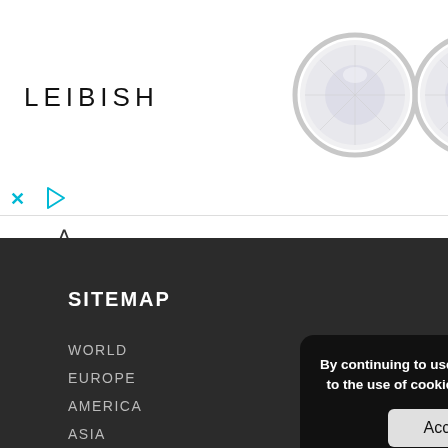[Figure (photo): Leibish advertisement banner showing two round diamond stud earrings on white background with LEIBISH logo text on left, close and play icons at bottom left]
SITEMAP
WORLD
EUROPE
AMERICA
ASIA
USBC
PBA
COACHING
INDUSTRY
RESULTS
BOWLINGDIGITAL TV
By continuing to use the site, you agree to the use of cookies. more information
Accept